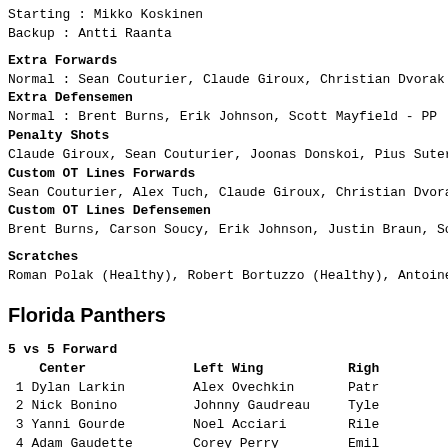Starting : Mikko Koskinen
Backup : Antti Raanta
Extra Forwards
Normal : Sean Couturier, Claude Giroux, Christian Dvorak
Extra Defensemen
Normal : Brent Burns, Erik Johnson, Scott Mayfield - PP
Penalty Shots
Claude Giroux, Sean Couturier, Joonas Donskoi, Pius Suter
Custom OT Lines Forwards
Sean Couturier, Alex Tuch, Claude Giroux, Christian Dvora
Custom OT Lines Defensemen
Brent Burns, Carson Soucy, Erik Johnson, Justin Braun, Sc
Scratches
Roman Polak (Healthy), Robert Bortuzzo (Healthy), Antoine
Florida Panthers
5 vs 5 Forward
| Center | Left Wing | Right Wing |
| --- | --- | --- |
| 1 Dylan Larkin | Alex Ovechkin | Patr |
| 2 Nick Bonino | Johnny Gaudreau | Tyle |
| 3 Yanni Gourde | Noel Acciari | Rile |
| 4 Adam Gaudette | Corey Perry | Emil |
5 vs 5 Defense
| Defense | Defense |
| --- | --- |
| 1 Travis Sanheim | Brandon Montour |
| 2 ... | Jack M... |